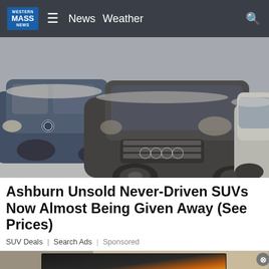Western Mass News | News  Weather
[Figure (photo): Multiple SUVs and cars covered in dust/snow parked in a lot, with an Audi Q7 prominently in the center]
Ashburn Unsold Never-Driven SUVs Now Almost Being Given Away (See Prices)
SUV Deals | Search Ads | Sponsored
[Figure (photo): Partial bottom image showing a person and an advertisement overlay with dark and orange gradient]